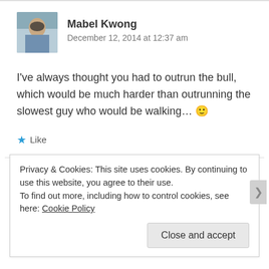[Figure (photo): Avatar/profile photo of Mabel Kwong]
Mabel Kwong
December 12, 2014 at 12:37 am
I've always thought you had to outrun the bull, which would be much harder than outrunning the slowest guy who would be walking... 🙂
★ Like
Privacy & Cookies: This site uses cookies. By continuing to use this website, you agree to their use.
To find out more, including how to control cookies, see here: Cookie Policy
Close and accept